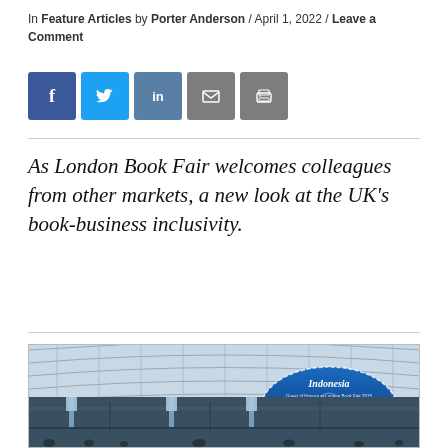In Feature Articles by Porter Anderson / April 1, 2022 / Leave a Comment
[Figure (other): Social media sharing buttons: Facebook (blue), Twitter (light blue), LinkedIn (blue-grey), Email (grey), Print (grey)]
As London Book Fair welcomes colleagues from other markets, a new look at the UK's book-business inclusivity.
[Figure (photo): Interior of the London Book Fair exhibition hall showing a large arched glass roof structure, with a prominent Indonesia country pavilion banner displayed on a large oval/arch shape in blue. Exhibition banners and stands are visible on the floor level.]